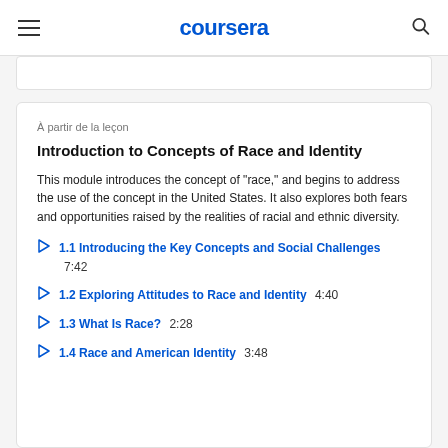coursera
À partir de la leçon
Introduction to Concepts of Race and Identity
This module introduces the concept of "race," and begins to address the use of the concept in the United States. It also explores both fears and opportunities raised by the realities of racial and ethnic diversity.
1.1 Introducing the Key Concepts and Social Challenges  7:42
1.2 Exploring Attitudes to Race and Identity  4:40
1.3 What Is Race?  2:28
1.4 Race and American Identity  3:48